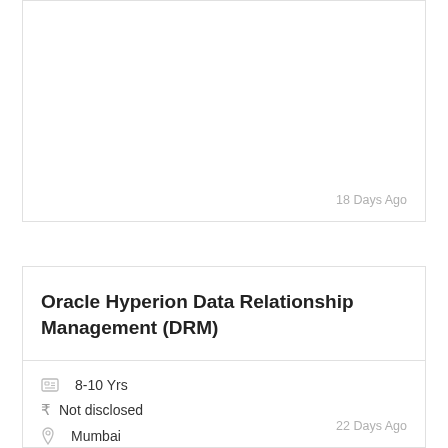18 Days Ago
Oracle Hyperion Data Relationship Management (DRM)
8-10 Yrs
Not disclosed
Mumbai
Job Description:
Must Have Skills : Oracle Hyperion Data Relationship Management…
22 Days Ago